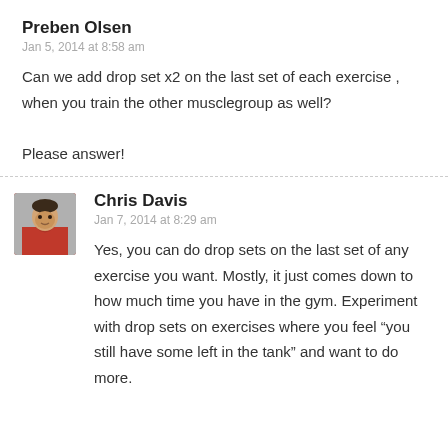Preben Olsen
Jan 5, 2014 at 8:58 am
Can we add drop set x2 on the last set of each exercise , when you train the other musclegroup as well?
Please answer!
[Figure (photo): Avatar photo of Chris Davis, a man in a red hoodie]
Chris Davis
Jan 7, 2014 at 8:29 am
Yes, you can do drop sets on the last set of any exercise you want. Mostly, it just comes down to how much time you have in the gym. Experiment with drop sets on exercises where you feel “you still have some left in the tank” and want to do more.